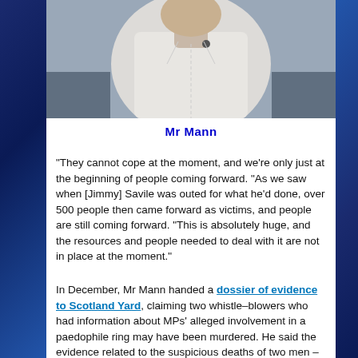[Figure (photo): Photograph of Mr Mann, a man wearing a white shirt, seated indoors]
Mr Mann
“They cannot cope at the moment, and we’re only just at the beginning of people coming forward. “As we saw when [Jimmy] Savile was outed for what he’d done, over 500 people then came forward as victims, and people are still coming forward. “This is absolutely huge, and the resources and people needed to deal with it are not in place at the moment.”
In December, Mr Mann handed a dossier of evidence to Scotland Yard, claiming two whistle-blowers who had information about MPs’ alleged involvement in a paedophile ring may have been murdered. He said the evidence related to the suspicious deaths of two men – a former Lambeth council official named Bulick Forsythe, and a caretaker whose name he did not disclose. Police were already aware of the potential link between one of the deaths and the child sex abuse ring, which involved “highly influential” politicians during the